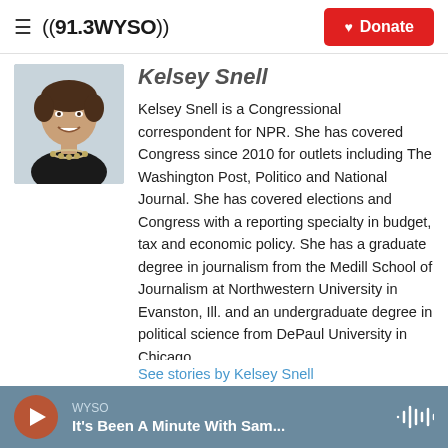((91.3 WYSO)) | Donate
Kelsey Snell
[Figure (photo): Headshot of Kelsey Snell, a woman with short dark hair wearing a black top and pearl necklace, smiling]
Kelsey Snell is a Congressional correspondent for NPR. She has covered Congress since 2010 for outlets including The Washington Post, Politico and National Journal. She has covered elections and Congress with a reporting specialty in budget, tax and economic policy. She has a graduate degree in journalism from the Medill School of Journalism at Northwestern University in Evanston, Ill. and an undergraduate degree in political science from DePaul University in Chicago.
See stories by Kelsey Snell
WYSO | It's Been A Minute With Sam...